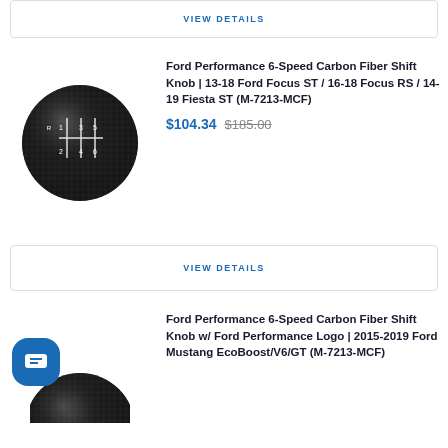VIEW DETAILS
[Figure (photo): Black carbon fiber 6-speed shift knob with gear pattern engraved, round ball shape]
Ford Performance 6-Speed Carbon Fiber Shift Knob | 13-18 Ford Focus ST / 16-18 Focus RS / 14-19 Fiesta ST (M-7213-MCF)
$104.34 $185.00
VIEW DETAILS
[Figure (photo): Partial view of black carbon fiber 6-speed shift knob with Ford Performance logo, round ball shape]
Ford Performance 6-Speed Carbon Fiber Shift Knob w/ Ford Performance Logo | 2015-2019 Ford Mustang EcoBoost/V6/GT (M-7213-MCF)